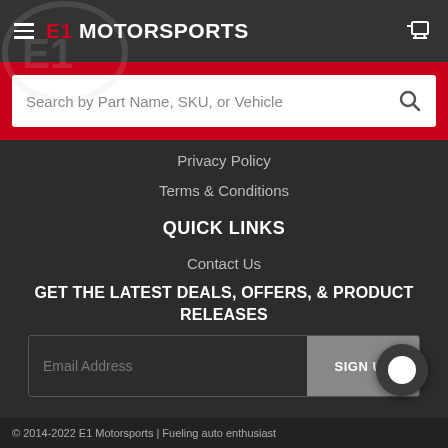[Figure (logo): E1 Motorsports logo with hamburger menu and shopping cart icon on dark header bar]
[Figure (screenshot): Search input bar with placeholder text 'Search by Part Name, SKU, or Vehicle' on red background with search icon]
Privacy Policy
Terms & Conditions
QUICK LINKS
Contact Us
GET THE LATEST DEALS, OFFERS, & PRODUCT RELEASES
[Figure (screenshot): Email address input field with SIGN UP button]
© 2014-2022 E1 Motorsports | Fueling auto enthusiast